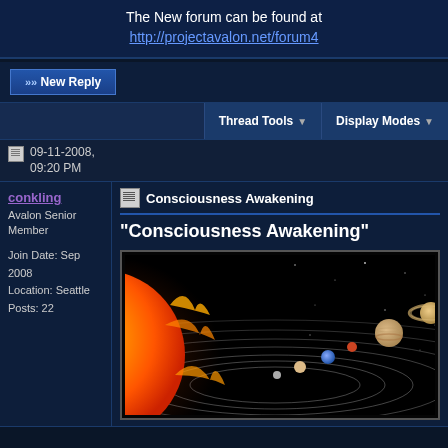The New forum can be found at http://projectavalon.net/forum4
>>New Reply
Thread Tools ▼   Display Modes ▼
09-11-2008, 09:20 PM
conkling
Avalon Senior Member
Join Date: Sep 2008
Location: Seattle
Posts: 22
Consciousness Awakening
"Consciousness Awakening"
[Figure (illustration): Solar system illustration showing the sun with flames on the left and planets with orbital rings extending to the right against a black background]